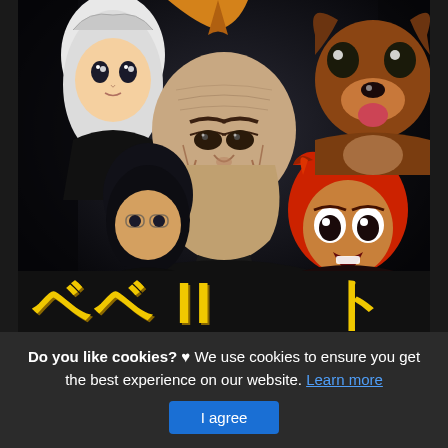[Figure (illustration): Anime group illustration showing multiple anime characters including figures with black hair, a bald elderly man in the center, a character with red hair on the right, and a brown dog/animal character in the upper right. The image appears to be from the Cowboy Bebop anime series. Below the character illustration is a yellow stylized text/logo band with Japanese-style lettering.]
Do you like cookies? ♥ We use cookies to ensure you get the best experience on our website. Learn more
I agree